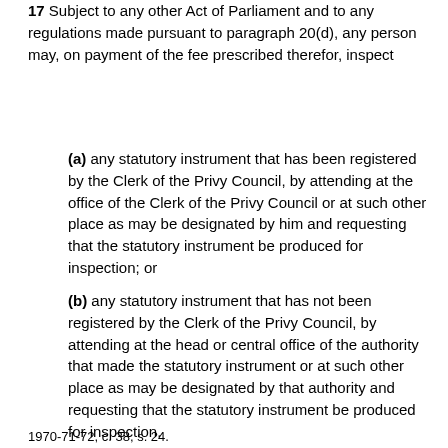17 Subject to any other Act of Parliament and to any regulations made pursuant to paragraph 20(d), any person may, on payment of the fee prescribed therefor, inspect
(a) any statutory instrument that has been registered by the Clerk of the Privy Council, by attending at the office of the Clerk of the Privy Council or at such other place as may be designated by him and requesting that the statutory instrument be produced for inspection; or
(b) any statutory instrument that has not been registered by the Clerk of the Privy Council, by attending at the head or central office of the authority that made the statutory instrument or at such other place as may be designated by that authority and requesting that the statutory instrument be produced for inspection.
1970-71-72, c. 38, s. 24.